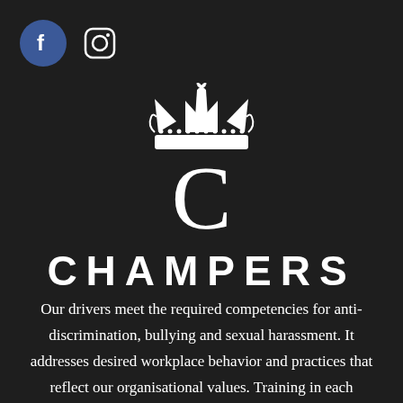[Figure (logo): Facebook icon (blue circle with white F) and Instagram icon (square with rounded corners outline)]
[Figure (logo): Champers brand logo: white crown SVG above a large white serif letter C, with CHAMPERS in spaced uppercase letters below]
Our drivers meet the required competencies for anti-discrimination, bullying and sexual harassment. It addresses desired workplace behavior and practices that reflect our organisational values. Training in each